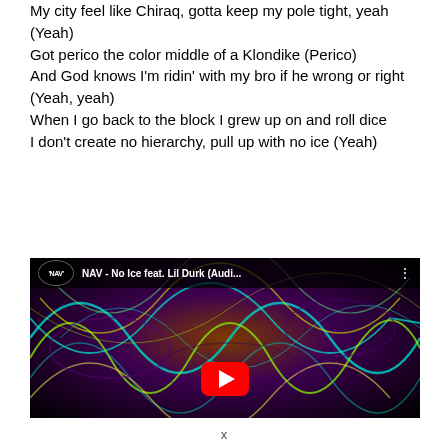My city feel like Chiraq, gotta keep my pole tight, yeah (Yeah)
Got perico the color middle of a Klondike (Perico)
And God knows I'm ridin' with my bro if he wrong or right (Yeah, yeah)
When I go back to the block I grew up on and roll dice
I don't create no hierarchy, pull up with no ice (Yeah)
[Figure (screenshot): YouTube video thumbnail for NAV - No Ice feat. Lil Durk (Audio) with psychedelic teal/green/brown swirling pattern background and red YouTube play button]
x